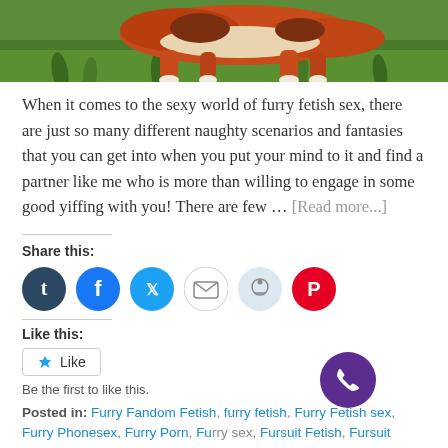[Figure (illustration): Partial image of a stylized fox character lying in green grass, visible at the top of the page]
When it comes to the sexy world of furry fetish sex, there are just so many different naughty scenarios and fantasies that you can get into when you put your mind to it and find a partner like me who is more than willing to engage in some good yiffing with you! There are few … [Read more...]
Share this:
[Figure (infographic): Row of social share buttons: Tumblr (dark blue), Facebook (blue), Twitter (light blue), Email (white/grey), Reddit (light blue/grey), Pinterest (red)]
Like this:
[Figure (other): Like button widget with star icon and text 'Like']
Be the first to like this.
Posted in: Furry Fandom Fetish, furry fetish, Furry Fetish sex, Furry Phonesex, Furry Porn, Furry sex, Fursuit Fetish, Fursuit Phonesex, Phonesex, Yiff Phonesex Tagged: furries, furry fetish
[Figure (other): Purple circular phone/call FAB button overlapping the lower content area]